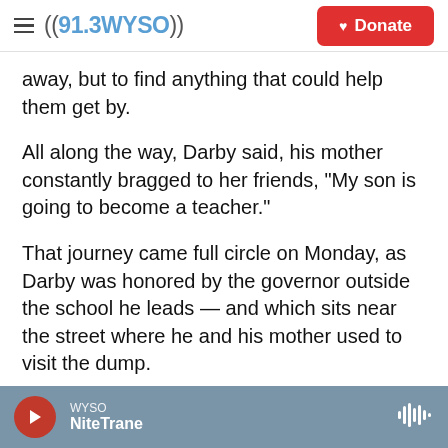((91.3 WYSO)) | Donate
away, but to find anything that could help them get by.
All along the way, Darby said, his mother constantly bragged to her friends, "My son is going to become a teacher."
That journey came full circle on Monday, as Darby was honored by the governor outside the school he leads — and which sits near the street where he and his mother used to visit the dump.
The principal described a day at the dump when he
WYSO NiteTrane